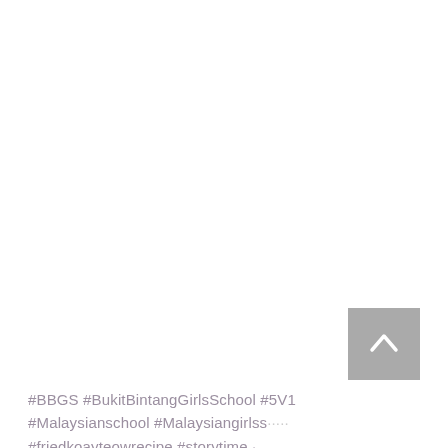[Figure (other): Back-to-top button: a grey square with a white upward-pointing chevron arrow, positioned at the lower right of the page.]
#BBGS #BukitBintangGirlsSchool #5V1 #Malaysianschool #Malaysiangirlss... #friedkoayteowrecipe #storytime #throwbackthursday